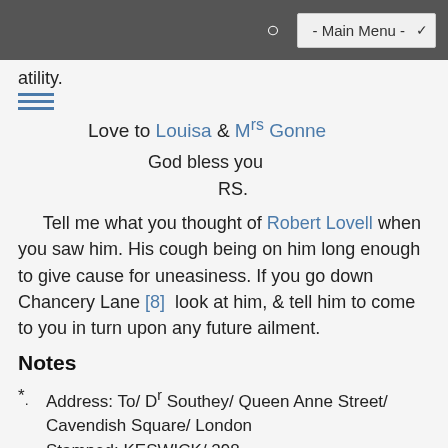- Main Menu -
atility.
Love to Louisa & Mrs Gonne
God bless you
RS.
Tell me what you thought of Robert Lovell when you saw him. His cough being on him long enough to give cause for uneasiness. If you go down Chancery Lane [8]  look at him, & tell him to come to you in turn upon any future ailment.
Notes
* Address: To/ Dr Southey/ Queen Anne Street/ Cavendish Square/ London
Stamped: KESWICK/ 298
Postmark: E/ 11 MY 11/ 1816